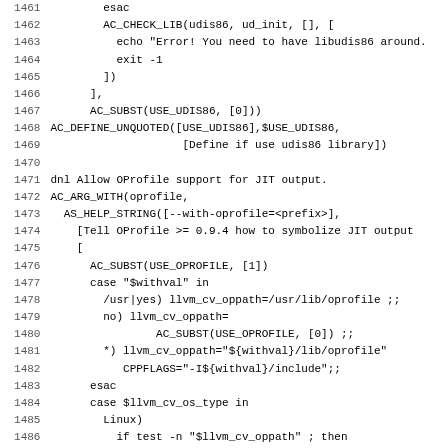[Figure (screenshot): Source code listing showing autoconf/configure script lines 1461-1492, monospace font on white background with line numbers]